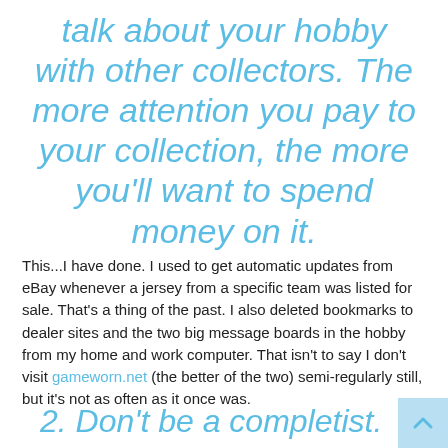talk about your hobby with other collectors. The more attention you pay to your collection, the more you'll want to spend money on it.
This...I have done. I used to get automatic updates from eBay whenever a jersey from a specific team was listed for sale. That's a thing of the past. I also deleted bookmarks to dealer sites and the two big message boards in the hobby from my home and work computer. That isn't to say I don't visit gameworn.net (the better of the two) semi-regularly still, but it's not as often as it once was.
2. Don't be a completist.